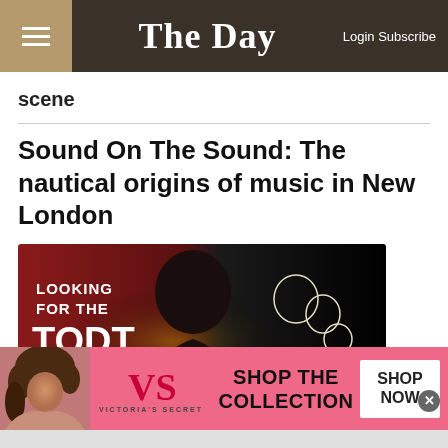The Day — Login Subscribe
scene
Sound On The Sound: The nautical origins of music in New London
[Figure (illustration): Advertisement banner for 'Looking for the Todt Family – A Podcast' showing silhouettes of people on a dark red and black background]
[Figure (illustration): Victoria's Secret advertisement with pink background showing a woman, the VS logo, 'SHOP THE COLLECTION' text, and a 'SHOP NOW' button]